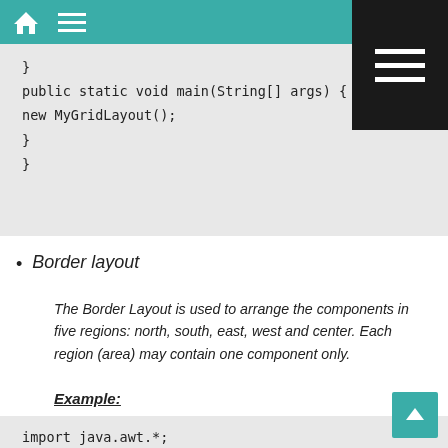Navigation bar with home and menu icons
}
public static void main(String[] args) {
new MyGridLayout();
}
}
Border layout
The Border Layout is used to arrange the components in five regions: north, south, east, west and center. Each region (area) may contain one component only.
Example:
import java.awt.*;
import javax.swing.*;
public class BorderL...